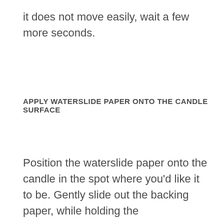it does not move easily, wait a few more seconds.
APPLY WATERSLIDE PAPER ONTO THE CANDLE SURFACE
Position the waterslide paper onto the candle in the spot where you'd like it to be. Gently slide out the backing paper, while holding the